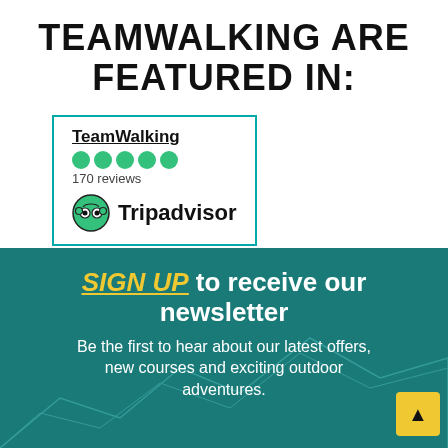TEAMWALKING ARE FEATURED IN:
[Figure (logo): Tripadvisor widget box showing TeamWalking with 5 green dot rating, 170 reviews, and Tripadvisor logo with owl icon]
SIGN UP to receive our newsletter
Be the first to hear about our latest offers, new courses and exciting outdoor adventures.